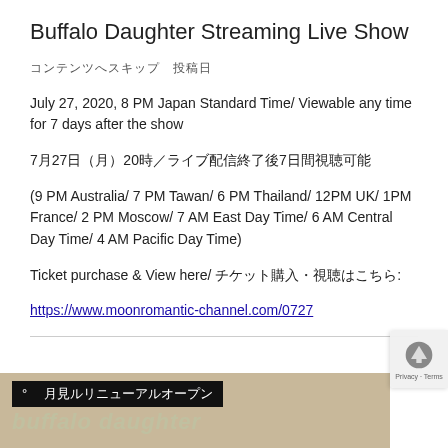Buffalo Daughter Streaming Live Show
コンテンツへスキップ　投稿日
July 27, 2020, 8 PM Japan Standard Time/ Viewable any time for 7 days after the show
7月27日（月）20時／ライブ配信終了後7日間視聴可能
(9 PM Australia/ 7 PM Tawan/ 6 PM Thailand/ 12PM UK/ 1PM France/ 2 PM Moscow/ 7 AM East Day Time/ 6 AM Central Day Time/ 4 AM Pacific Day Time)
Ticket purchase & View here/ チケット購入・視聴はこちら:
https://www.moonromantic-channel.com/0727
[Figure (photo): Banner image with tan/beige background showing Japanese text '月見ルリニューアルオープン' in black box and 'buffalo daughter' text below in stylized font]